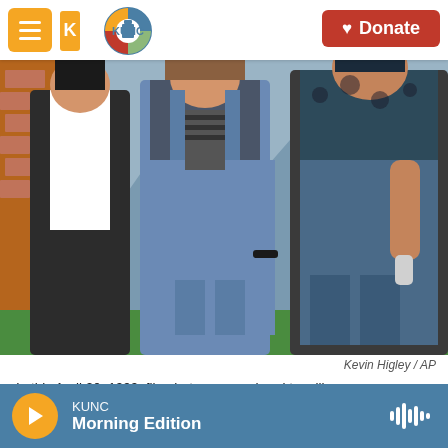KUNC | Donate
[Figure (photo): Three teenage women walking near a brick wall and grass, photographed from behind, wearing jeans overalls and casual tops.]
Kevin Higley / AP
In this April 20, 1999, file photo, women head to a library near Columbine High School where students and faculty members were evacuated after two gunmen went on a shooting rampage in the school in the Denver suburb of Littleton, Colo.
KUNC Morning Edition